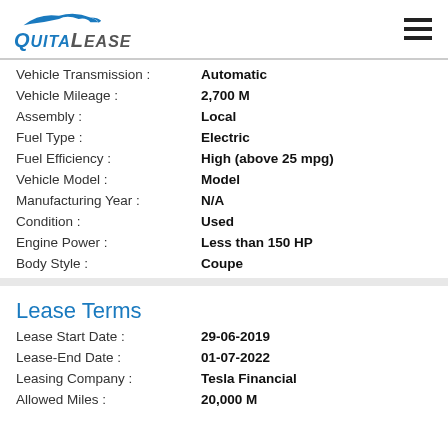[Figure (logo): QuitaLease logo with car silhouette]
| Field | Value |
| --- | --- |
| Vehicle Transmission : | Automatic |
| Vehicle Mileage : | 2,700 M |
| Assembly : | Local |
| Fuel Type : | Electric |
| Fuel Efficiency : | High (above 25 mpg) |
| Vehicle Model : | Model |
| Manufacturing Year : | N/A |
| Condition : | Used |
| Engine Power : | Less than 150 HP |
| Body Style : | Coupe |
Lease Terms
| Field | Value |
| --- | --- |
| Lease Start Date : | 29-06-2019 |
| Lease-End Date : | 01-07-2022 |
| Leasing Company : | Tesla Financial |
| Allowed Miles : | 20,000 M |